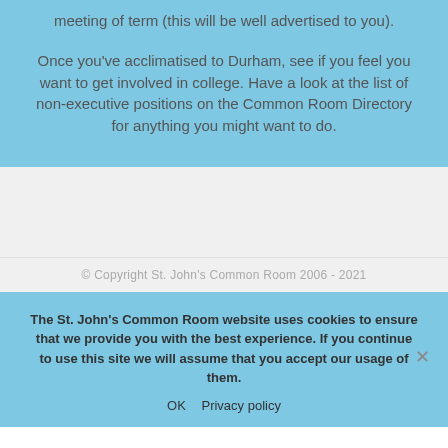meeting of term (this will be well advertised to you).
Once you've acclimatised to Durham, see if you feel you want to get involved in college. Have a look at the list of non-executive positions on the Common Room Directory for anything you might want to do.
© Copyright St. John's Common Room 2006 - 2021
The St. John's Common Room website uses cookies to ensure that we provide you with the best experience. If you continue to use this site we will assume that you accept our usage of them.
OK   Privacy policy